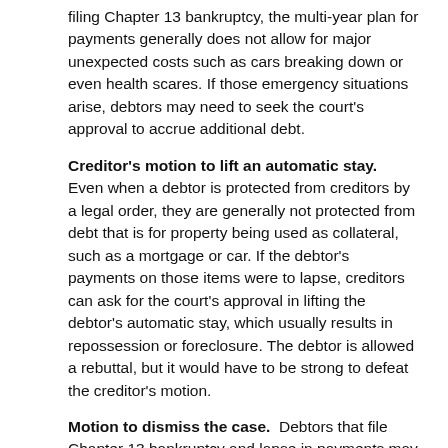filing Chapter 13 bankruptcy, the multi-year plan for payments generally does not allow for major unexpected costs such as cars breaking down or even health scares. If those emergency situations arise, debtors may need to seek the court's approval to accrue additional debt.
Creditor's motion to lift an automatic stay.  Even when a debtor is protected from creditors by a legal order, they are generally not protected from debt that is for property being used as collateral, such as a mortgage or car. If the debtor's payments on those items were to lapse, creditors can ask for the court's approval in lifting the debtor's automatic stay, which usually results in repossession or foreclosure. The debtor is allowed a rebuttal, but it would have to be strong to defeat the creditor's motion.
Motion to dismiss the case.  Debtors that file Chapter 13 bankruptcy and lapse in payments may be subject to a trustee's motion to dismiss the case. The debtor is allowed a rebuttal here as well, but to be successful it must be well thought out and evidence based.
Considerations for Bankruptcy Court